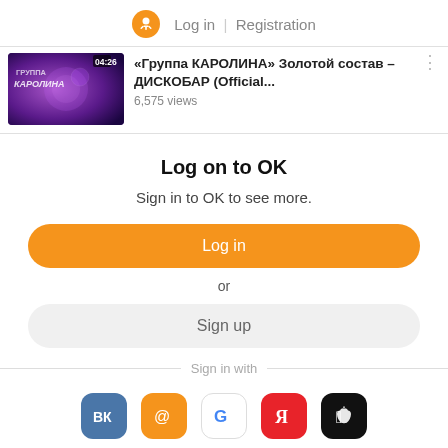Log in | Registration
[Figure (screenshot): Video thumbnail for «Группа КАРОЛИНА» Золотой состав – ДИСКОБАР (Official... with 04:26 duration and 6,575 views]
Log on to OK
Sign in to OK to see more.
Log in
or
Sign up
Sign in with
[Figure (illustration): Social login icons: VK (blue), Mail.ru (orange), Google (white/coloured), Yandex (red/white), Apple (black)]